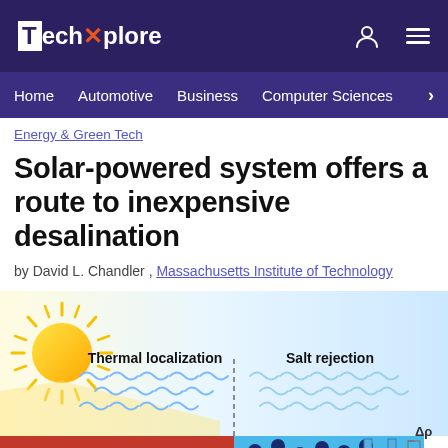TechXplore
Home | Automotive | Business | Computer Sciences
Energy & Green Tech
Solar-powered system offers a route to inexpensive desalination
by David L. Chandler , Massachusetts Institute of Technology
[Figure (illustration): Diagram showing solar desalination system with 'Thermal localization' on left side with sun and wavy heat lines above a confined water layer on an insulation block, and 'Salt rejection' on the right side with blue water containing salt ions, and a delta-rho (Δρ) indicator on far right.]